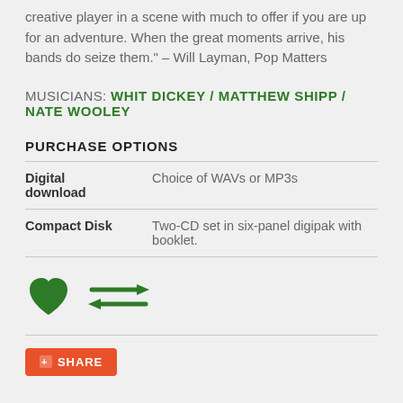creative player in a scene with much to offer if you are up for an adventure. When the great moments arrive, his bands do seize them." – Will Layman, Pop Matters
MUSICIANS: WHIT DICKEY / MATTHEW SHIPP / NATE WOOLEY
PURCHASE OPTIONS
|  |  |
| --- | --- |
| Digital download | Choice of WAVs or MP3s |
| Compact Disk | Two-CD set in six-panel digipak with booklet. |
[Figure (illustration): Green heart icon and green double-headed arrow (exchange/transfer) icon]
SHARE